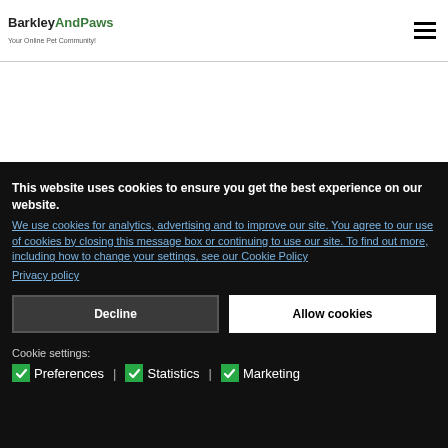BarkleyAndPaws — Your Online Pet Community!
This website uses cookies to ensure you get the best experience on our website.
We use cookies for analytics, advertising and to improve our site. You agree to our use of cookies by closing this message box or continuing to use our site. To find out more, including how to change your settings, see our Cookie Policy
Privacy policy
Decline
Allow cookies
Cookie settings:
Preferences
Statistics
Marketing